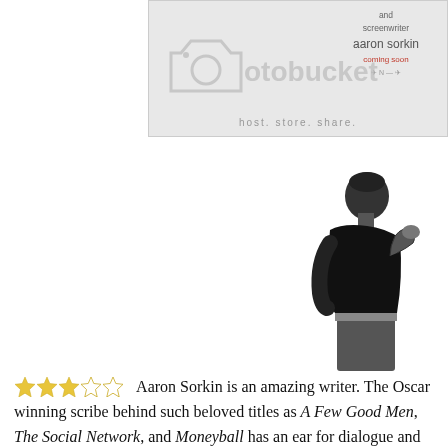[Figure (screenshot): Photobucket placeholder image with camera icon watermark, showing text 'and screenwriter aaron sorkin coming soon' and 'host. store. share.' tagline]
[Figure (photo): Black and white photo of a man in a black shirt, head bowed, hand raised to chin in a thoughtful pose]
★★★☆☆ Aaron Sorkin is an amazing writer. The Oscar winning scribe behind such beloved titles as A Few Good Men, The Social Network, and Moneyball has an ear for dialogue and Steve Jobs, the movie, is no different.